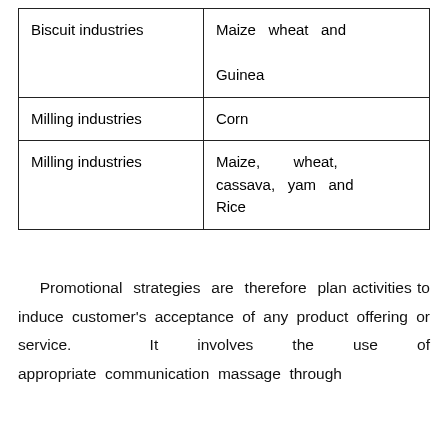| Biscuit industries | Maize wheat and

Guinea |
| Milling industries | Corn |
| Milling industries | Maize, wheat, cassava, yam and Rice |
Promotional strategies are therefore plan activities to induce customer's acceptance of any product offering or service.  It involves the use of appropriate communication massage through